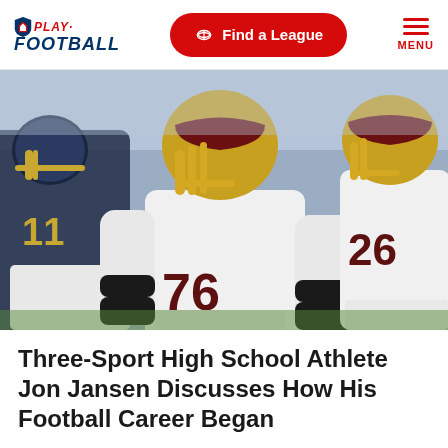NFL Play Football — Find a League — MENU
[Figure (photo): Washington Redskins offensive lineman #76 Jon Jansen in a white uniform with gold helmet in a game action shot, with another Redskins player #26 visible in the background and a player in a dark uniform on the left.]
Three-Sport High School Athlete Jon Jansen Discusses How His Football Career Began